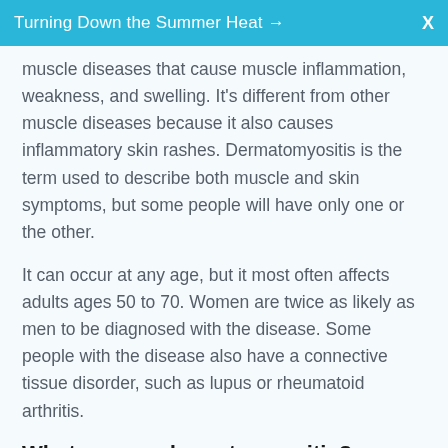Turning Down the Summer Heat →   X
muscle diseases that cause muscle inflammation, weakness, and swelling. It's different from other muscle diseases because it also causes inflammatory skin rashes. Dermatomyositis is the term used to describe both muscle and skin symptoms, but some people will have only one or the other.
It can occur at any age, but it most often affects adults ages 50 to 70. Women are twice as likely as men to be diagnosed with the disease. Some people with the disease also have a connective tissue disorder, such as lupus or rheumatoid arthritis.
What causes dermatomyositis?
The exact cause is not known. But dermatomyositis can be linked to cancer, other autoimmune diseases, infections, or genetic problems.